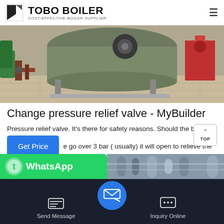TOBO BOILER — COST-EFFECTIVE BOILER SUPPLIER
[Figure (photo): Industrial boiler equipment on a tiled floor, showing pipes and machinery]
Change pressure relief valve - MyBuilder
Pressure relief valve. It's there for safety reasons. Should the bo... go over 3 bar ( usually) it will open to relieve the ...re. So if it's leaking you need to know why. Otherwise you spend money replacing it only to have the same...
[Figure (screenshot): WhatsApp banner (green) partially visible at bottom left, pipe photo at bottom right]
Send Message | Inquiry Online